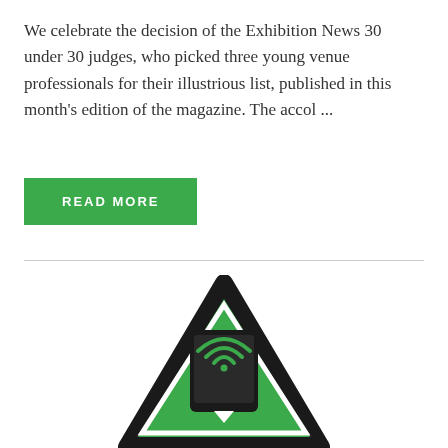We celebrate the decision of the Exhibition News 30 under 30 judges, who picked three young venue professionals for their illustrious list, published in this month's edition of the magazine. The accol ...
[Figure (illustration): A green inverted triangle sign with a thick black rounded border and white inner border. Inside the triangle is a black tablet/smartphone icon displaying a wifi/NFC signal symbol. Below the device icon is a small white downward-pointing triangle arrow.]